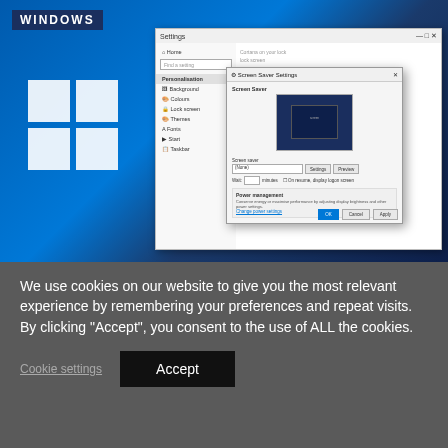[Figure (screenshot): Windows 10 screenshot showing Settings panel open with Personalisation selected, and a Screen Saver Settings dialog box open on top. The Windows logo and 'WINDOWS' label appear on a blue background to the left.]
We use cookies on our website to give you the most relevant experience by remembering your preferences and repeat visits. By clicking “Accept”, you consent to the use of ALL the cookies.
Cookie settings
Accept